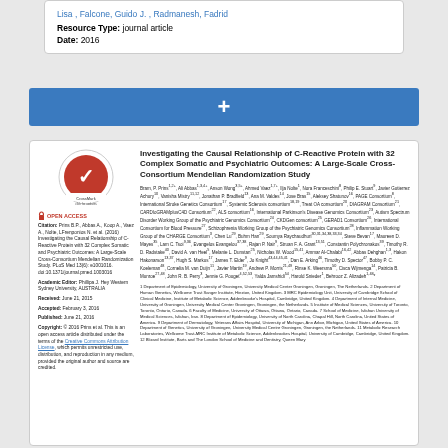Lisa , Falcone, Guido J. , Radmanesh, Fadrid
Resource Type: journal article
Date: 2016
[Figure (other): Blue bar with plus symbol]
Investigating the Causal Relationship of C-Reactive Protein with 32 Complex Somatic and Psychiatric Outcomes: A Large-Scale Cross-Consortium Mendelian Randomization Study
Bram, P. Prins et al. author list with affiliations and open access metadata
Affiliations: 1 Department of Epidemiology, University of Groningen, University Medical Center Groningen... and others